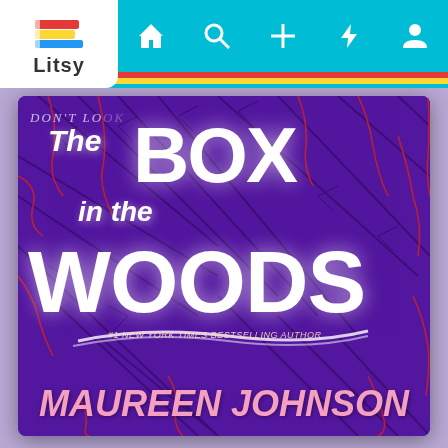[Figure (screenshot): Litsy app screenshot showing the book cover of 'The Box in the Woods' by Maureen Johnson. The app has a teal navigation bar with a white Litsy logo (stacked books icon) at top left, and navigation icons (home, search, plus, lightning, profile) across the top. The book cover features a dark purple background with pine needle illustrations and red cracks. The title 'The Box in the Woods' is displayed in large white stylized text, with 'Maureen Johnson' in pink italic text at the bottom, along with '#1 New York Times Bestselling Author' tagline.]